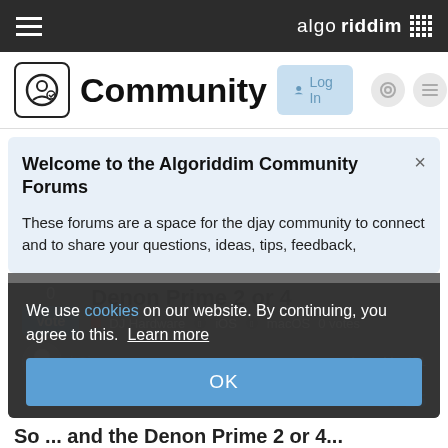algoriddim
Community
Welcome to the Algoriddim Community Forums
These forums are a space for the djay community to connect and to share your questions, ideas, tips, feedback,
0  Vote
Denon Prime 2 or 4
DJ Hardware  iOS  macOS  0 votes
We use cookies on our website. By continuing, you agree to this. Learn more
OK
itSimo  1  Mar '21
1 / 15
So ... and the Denon Prime 2 or 4...